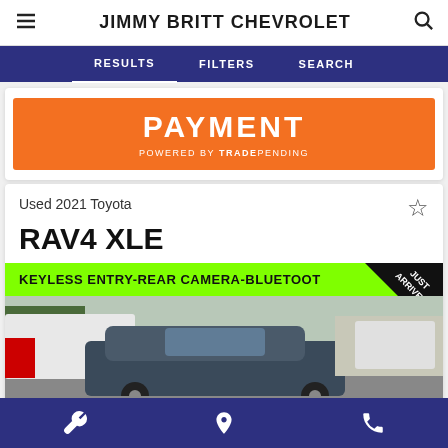JIMMY BRITT CHEVROLET
RESULTS   FILTERS   SEARCH
[Figure (screenshot): Orange banner with white text reading PAYMENT, powered by TRADEPENDING]
Used 2021 Toyota
RAV4 XLE
[Figure (photo): Photo of a used 2021 Toyota RAV4 XLE in a dealership lot, with a green banner showing KEYLESS ENTRY-REAR CAMERA-BLUETOOTH-2.5L and a JUST ARRIVED badge in the corner]
Wrench icon, Location pin icon, Phone icon